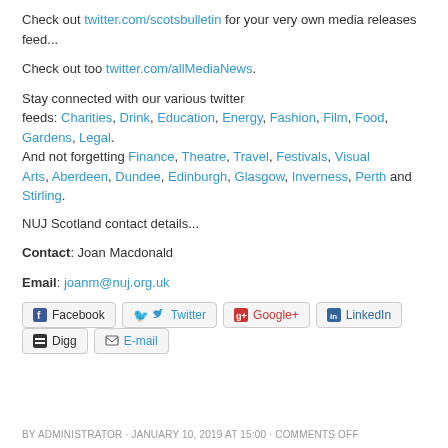Check out twitter.com/scotsbulletin for your very own media releases feed...
Check out too twitter.com/allMediaNews.
Stay connected with our various twitter feeds: Charities, Drink, Education, Energy, Fashion, Film, Food, Gardens, Legal. And not forgetting Finance, Theatre, Travel, Festivals, Visual Arts, Aberdeen, Dundee, Edinburgh, Glasgow, Inverness, Perth and Stirling.
NUJ Scotland contact details...
Contact: Joan Macdonald
Email: joanm@nuj.org.uk
[Figure (other): Social sharing buttons: Facebook, Twitter, Google+, LinkedIn, Digg, E-mail]
BY ADMINISTRATOR · JANUARY 10, 2019 AT 15:00 · COMMENTS OFF